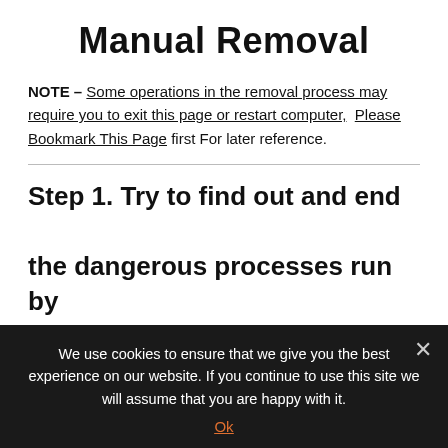Manual Removal
NOTE – Some operations in the removal process may require you to exit this page or restart computer,  Please Bookmark This Page first For later reference.
Step 1. Try to find out and end the dangerous processes run by GAMELOOP or other thre…
We use cookies to ensure that we give you the best experience on our website. If you continue to use this site we will assume that you are happy with it.
Ok